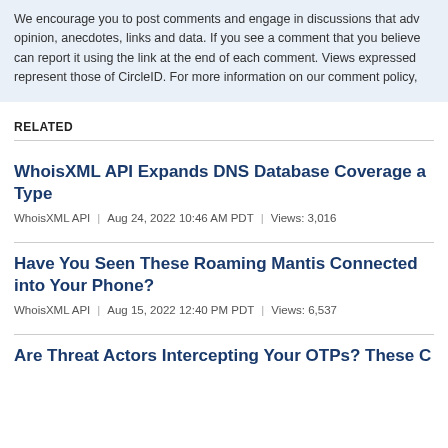We encourage you to post comments and engage in discussions that adv opinion, anecdotes, links and data. If you see a comment that you believe can report it using the link at the end of each comment. Views expressed represent those of CircleID. For more information on our comment policy,
RELATED
WhoisXML API Expands DNS Database Coverage a Type
WhoisXML API | Aug 24, 2022 10:46 AM PDT | Views: 3,016
Have You Seen These Roaming Mantis Connected into Your Phone?
WhoisXML API | Aug 15, 2022 12:40 PM PDT | Views: 6,537
Are Threat Actors Intercepting Your OTPs? These C